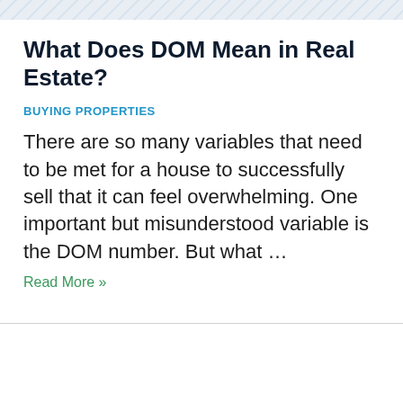[Figure (illustration): Decorative banner image at top of page with light blue/grey diagonal stripe pattern]
What Does DOM Mean in Real Estate?
BUYING PROPERTIES
There are so many variables that need to be met for a house to successfully sell that it can feel overwhelming. One important but misunderstood variable is the DOM number. But what …
Read More »